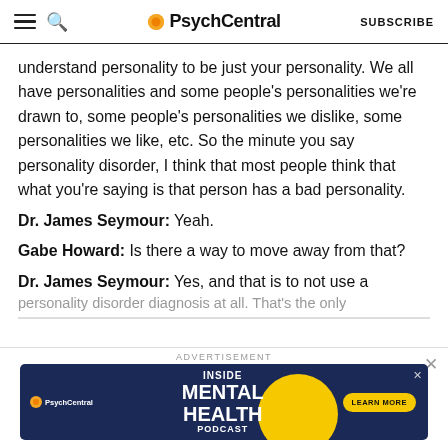PsychCentral | SUBSCRIBE
understand personality to be just your personality. We all have personalities and some people's personalities we're drawn to, some people's personalities we dislike, some personalities we like, etc. So the minute you say personality disorder, I think that most people think that what you're saying is that person has a bad personality.
Dr. James Seymour: Yeah.
Gabe Howard: Is there a way to move away from that?
Dr. James Seymour: Yes, and that is to not use a personality disorder diagnosis at all. That's the only
[Figure (screenshot): PsychCentral advertisement banner for Inside Mental Health Podcast with dark blue background, yellow circle graphic, and Learn More button]